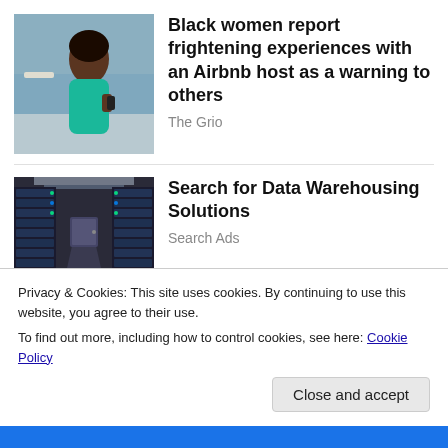[Figure (photo): A Black woman in a teal bikini top standing on a beach, looking at her phone]
Black women report frightening experiences with an Airbnb host as a warning to others
The Grio
[Figure (photo): Interior of a data center with rows of server racks and a corridor]
Search for Data Warehousing Solutions
Search Ads
Privacy & Cookies: This site uses cookies. By continuing to use this website, you agree to their use.
To find out more, including how to control cookies, see here: Cookie Policy
Close and accept